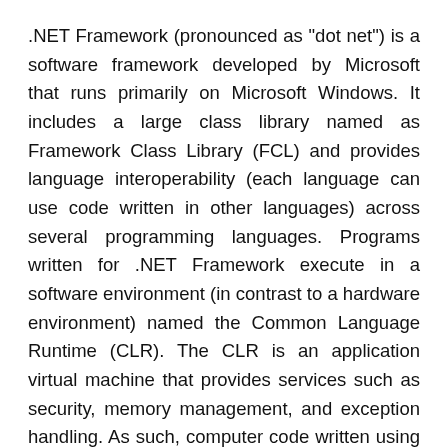.NET Framework (pronounced as "dot net") is a software framework developed by Microsoft that runs primarily on Microsoft Windows. It includes a large class library named as Framework Class Library (FCL) and provides language interoperability (each language can use code written in other languages) across several programming languages. Programs written for .NET Framework execute in a software environment (in contrast to a hardware environment) named the Common Language Runtime (CLR). The CLR is an application virtual machine that provides services such as security, memory management, and exception handling. As such, computer code written using .NET Framework is called "managed code". FCL and CLR together constitute the .NET Framework.
Microsoft .NET Framework 3.5 contains many new featu...